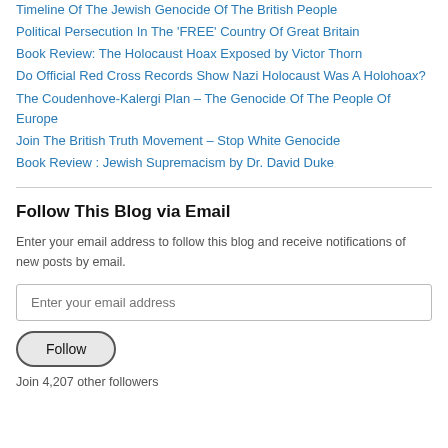Timeline Of The Jewish Genocide Of The British People
Political Persecution In The 'FREE' Country Of Great Britain
Book Review: The Holocaust Hoax Exposed by Victor Thorn
Do Official Red Cross Records Show Nazi Holocaust Was A Holohoax?
The Coudenhove-Kalergi Plan – The Genocide Of The People Of Europe
Join The British Truth Movement – Stop White Genocide
Book Review : Jewish Supremacism by Dr. David Duke
Follow This Blog via Email
Enter your email address to follow this blog and receive notifications of new posts by email.
Join 4,207 other followers